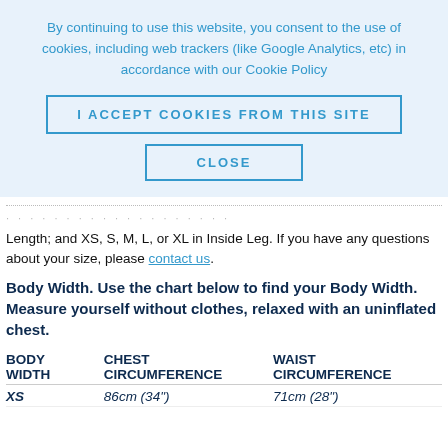By continuing to use this website, you consent to the use of cookies, including web trackers (like Google Analytics, etc) in accordance with our Cookie Policy
I ACCEPT COOKIES FROM THIS SITE
CLOSE
Length; and XS, S, M, L, or XL in Inside Leg. If you have any questions about your size, please contact us.
Body Width. Use the chart below to find your Body Width. Measure yourself without clothes, relaxed with an uninflated chest.
| BODY
WIDTH | CHEST
CIRCUMFERENCE | WAIST
CIRCUMFERENCE |
| --- | --- | --- |
| XS | 86cm (34") | 71cm (28") |